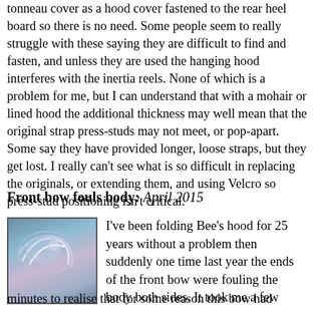tonneau cover as a hood cover fastened to the rear heel board so there is no need. Some people seem to really struggle with these saying they are difficult to find and fasten, and unless they are used the hanging hood interferes with the inertia reels. None of which is a problem for me, but I can understand that with a mohair or lined hood the additional thickness may well mean that the original strap press-studs may not meet, or pop-apart. Some say they have provided longer, loose straps, but they get lost. I really can't see what is so difficult in replacing the originals, or extending them, and using Velcro so press-stud positioning isn't critical.
Front bow fouls body: April 2015
[Figure (photo): Close-up photo of chrome hood bow mechanism against a purple/blue car body]
I've been folding Bee's hood for 25 years without a problem then suddenly one time last year the ends of the front bow were fouling the body both sides. It took me a few minutes to realise that for some reason this bow had